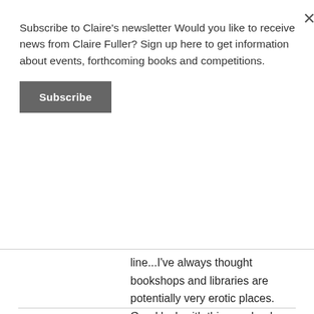Subscribe to Claire's newsletter Would you like to receive news from Claire Fuller? Sign up here to get information about events, forthcoming books and competitions.
Subscribe
line...I’ve always thought bookshops and libraries are potentially very erotic places. Good luck with this new book – the title is great. And that weird wonderful photo has inspired a huge variety of stories.
Like
REPLY